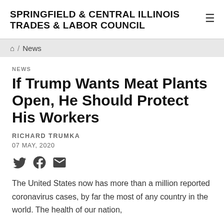SPRINGFIELD & CENTRAL ILLINOIS TRADES & LABOR COUNCIL
Home / News
NEWS
If Trump Wants Meat Plants Open, He Should Protect His Workers
RICHARD TRUMKA
07 MAY, 2020
The United States now has more than a million reported coronavirus cases, by far the most of any country in the world. The health of our nation,